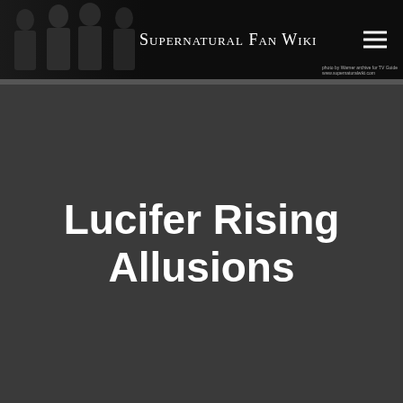[Figure (screenshot): Supernatural Fan Wiki website header banner showing silhouettes of characters on dark background with site title text 'Supernatural Fan Wiki' in small-caps serif font, and a hamburger menu icon in top right corner. Photo credit text visible in bottom right of banner.]
Lucifer Rising Allusions